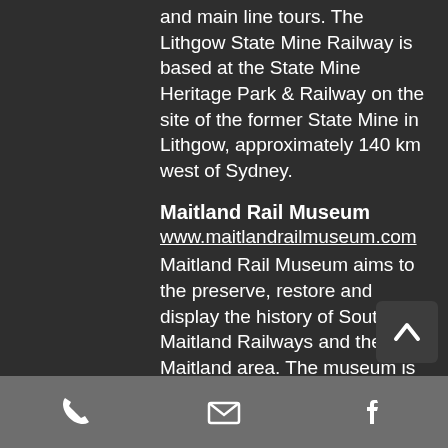and main line tours. The Lithgow State Mine Railway is based at the State Mine Heritage Park & Railway on the site of the former State Mine in Lithgow, approximately 140 km west of Sydney.
Maitland Rail Museum
www.maitlandrailmuseum.com
Maitland Rail Museum aims to the preserve, restore and display the history of South Maitland Railways and the Maitland area. The museum is open on the first Sunday of each month, and also has a display at Hunter Valley Steamfest each year. Maitland is located approximately 160 km north of Sydney.
Merriwa Railway Society Incorporated
www.facebook.com/MerriwaRailwaySociety